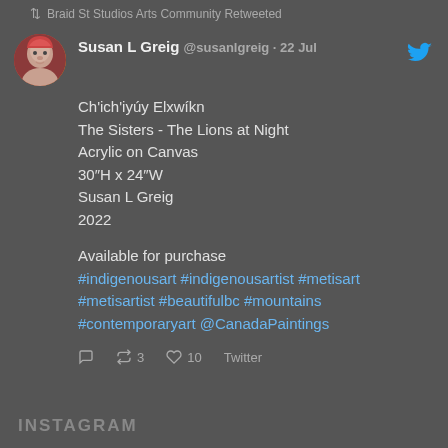↕↓ Braid St Studios Arts Community Retweeted
Susan L Greig @susanlgreig · 22 Jul
Ch'ich'iyúy Elxwíkn
The Sisters - The Lions at Night
Acrylic on Canvas
30"H x 24"W
Susan L Greig
2022

Available for purchase
#indigenousart #indigenousartist #metisart
#metisartist #beautifulbc #mountains
#contemporaryart @CanadaPaintings
3  10  Twitter
INSTAGRAM